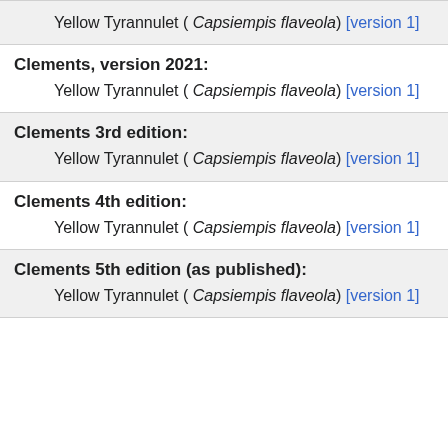Yellow Tyrannulet ( Capsiempis flaveola) [version 1]
Clements, version 2021:
Yellow Tyrannulet ( Capsiempis flaveola) [version 1]
Clements 3rd edition:
Yellow Tyrannulet ( Capsiempis flaveola) [version 1]
Clements 4th edition:
Yellow Tyrannulet ( Capsiempis flaveola) [version 1]
Clements 5th edition (as published):
Yellow Tyrannulet ( Capsiempis flaveola) [version 1]